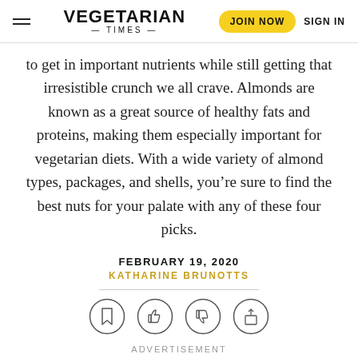VEGETARIAN TIMES | JOIN NOW | SIGN IN
to get in important nutrients while still getting that irresistible crunch we all crave. Almonds are known as a great source of healthy fats and proteins, making them especially important for vegetarian diets. With a wide variety of almond types, packages, and shells, you’re sure to find the best nuts for your palate with any of these four picks.
FEBRUARY 19, 2020
KATHARINE BRUNOTTS
[Figure (other): Four social action icon buttons: bookmark, thumbs up, thumbs down, share]
ADVERTISEMENT